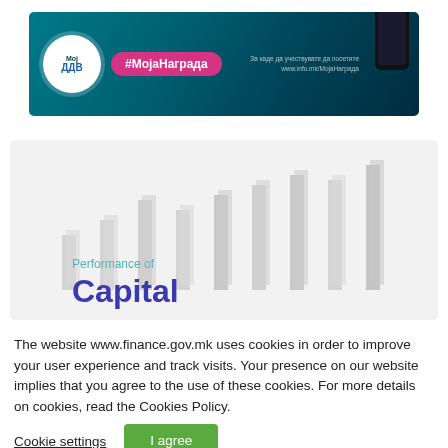[Figure (photo): Advertisement banner with teal/dark background showing a mobile phone, circular logo with 'Мoj ДДВ' text, pink hashtag '#MojaНаграда', and small white URL text on the right]
[Figure (bar-chart): Partial view of a bar chart with light gray bars on a light gray/white background, overlaid with text 'Performance of Capital' in teal and dark blue colors]
The website www.finance.gov.mk uses cookies in order to improve your user experience and track visits. Your presence on our website implies that you agree to the use of these cookies. For more details on cookies, read the Cookies Policy.
Cookie settings
I agree